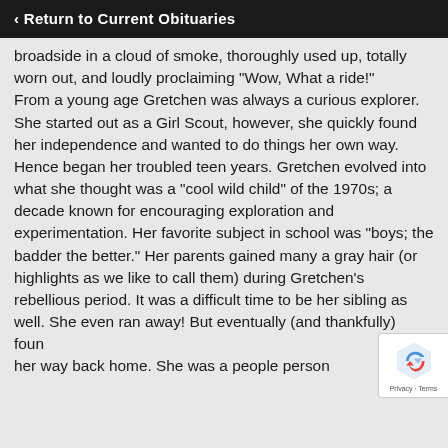Return to Current Obituaries
broadside in a cloud of smoke, thoroughly used up, totally worn out, and loudly proclaiming “Wow, What a ride!"
From a young age Gretchen was always a curious explorer. She started out as a Girl Scout, however, she quickly found her independence and wanted to do things her own way. Hence began her troubled teen years. Gretchen evolved into what she thought was a “cool wild child” of the 1970s; a decade known for encouraging exploration and experimentation. Her favorite subject in school was “boys; the badder the better.” Her parents gained many a gray hair (or highlights as we like to call them) during Gretchen’s rebellious period. It was a difficult time to be her sibling as well. She even ran away! But eventually (and thankfully) found her way back home. She was a people person